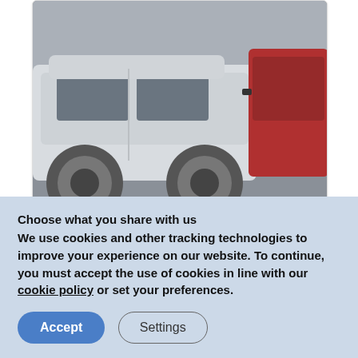[Figure (photo): Photo of parked cars including a white sedan and a red car viewed from the side, parking lot scene]
Are Private Car Services Worth It?
[Figure (illustration): Dark/black background with teal/green graffiti-style text reading 'Sadless' or similar, with an NFT badge label in the upper right]
Choose what you share with us
We use cookies and other tracking technologies to improve your experience on our website. To continue, you must accept the use of cookies in line with our cookie policy or set your preferences.